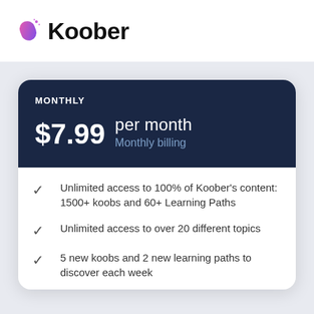[Figure (logo): Koober logo: purple/pink pill-shaped icon with sparkle, followed by bold black text 'Koober']
MONTHLY
$7.99 per month
Monthly billing
Unlimited access to 100% of Koober's content: 1500+ koobs and 60+ Learning Paths
Unlimited access to over 20 different topics
5 new koobs and 2 new learning paths to discover each week